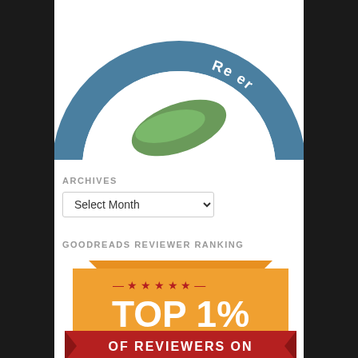[Figure (logo): Professional Reviewer badge/logo — circular teal/steel-blue ring with white text 'Professional Re...' and '...er' (arcing around top), green swoosh/leaf shape in center, shown partially cropped at top of page (upside-down)]
ARCHIVES
[Figure (screenshot): Dropdown select widget labeled 'Select Month' with a chevron arrow]
GOODREADS REVIEWER RANKING
[Figure (infographic): Goodreads Reviewer Ranking badge: orange shield/crest shape with dark red ribbon banner. White bold text reads 'TOP 1%'. Red ribbon banner reads 'OF REVIEWERS ON'. Stars decorating the top. Partially cropped at bottom.]